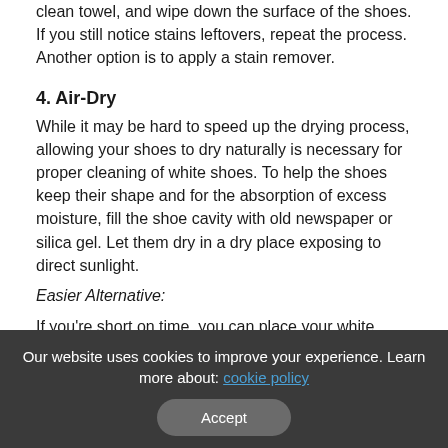clean towel, and wipe down the surface of the shoes. If you still notice stains leftovers, repeat the process. Another option is to apply a stain remover.
4. Air-Dry
While it may be hard to speed up the drying process, allowing your shoes to dry naturally is necessary for proper cleaning of white shoes. To help the shoes keep their shape and for the absorption of excess moisture, fill the shoe cavity with old newspaper or silica gel. Let them dry in a dry place exposing to direct sunlight.
Easier Alternative:
If you're short on time, you can place your white sneakers in
Our website uses cookies to improve your experience. Learn more about: cookie policy
Accept